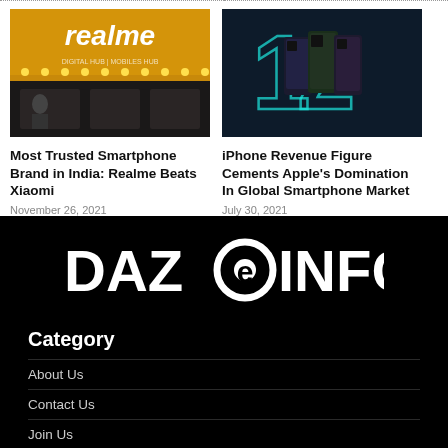[Figure (photo): Realme store front with yellow sign and illuminated branding]
[Figure (photo): iPhone 12 series lineup against dark teal background with large glowing 12 numerals]
Most Trusted Smartphone Brand in India: Realme Beats Xiaomi
November 26, 2021
iPhone Revenue Figure Cements Apple's Domination In Global Smartphone Market
July 30, 2021
[Figure (logo): DAZeINFO logo in white bold text on black background]
Category
About Us
Contact Us
Join Us